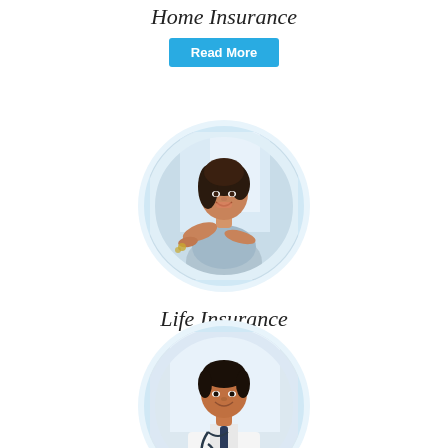Home Insurance
Read More
[Figure (photo): Circular portrait of a smiling woman holding keys, representing life insurance]
Life Insurance
Read More
[Figure (photo): Circular portrait of a smiling male doctor in white coat with stethoscope, representing health insurance]
Health Insurance